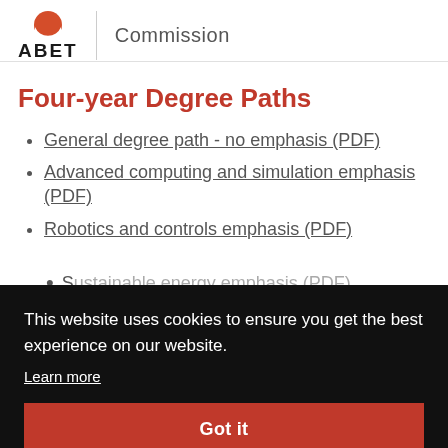[Figure (logo): ABET logo with orange semicircle and 'ABET' text, next to 'Commission' text separated by a vertical line]
Four-year Degree Paths
General degree path - no emphasis (PDF)
Advanced computing and simulation emphasis (PDF)
Robotics and controls emphasis (PDF)
Sustainable energy emphasis (PDF)
This website uses cookies to ensure you get the best experience on our website.
Learn more
Got it